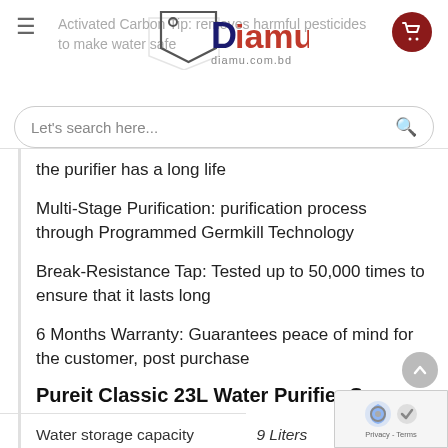Diamu — diamu.com.bd — Activated Carbon Tip: removes harmful pesticides to make water safe.
the purifier has a long life
Multi-Stage Purification: purification process through Programmed Germkill Technology
Break-Resistance Tap: Tested up to 50,000 times to ensure that it lasts long
6 Months Warranty: Guarantees peace of mind for the customer, post purchase
Pureit Classic 23L Water Purifier Specs
|  |  |
| --- | --- |
| Water storage capacity | 9 Liters |
| Total purifier volume | 23 Liters |
| Purification cartridges | Germkill Kit |